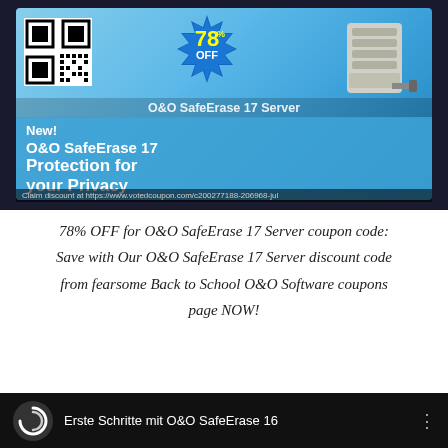[Figure (infographic): Advertisement banner for O&O SafeErase 17 Server showing 78% OFF discount badge, QR code, product image of server device, and text 'New! O&O SafeErase 17 Protection for your Privacy' on blue gradient background. Overlay text reads 'O&O SafeErase 17 Server'. Bottom bar says 'Claim discount at https://www.votedcoupon.com/c200277188-206968-jul']
78% OFF for O&O SafeErase 17 Server coupon code: Save with Our O&O SafeErase 17 Server discount code from fearsome Back to School O&O Software coupons page NOW!
[Figure (screenshot): Bottom portion of a video thumbnail showing 'Erste Schritte mit O&O SafeErase 16' on a dark/black background with a circular logo icon on the left and a three-dot menu on the right.]